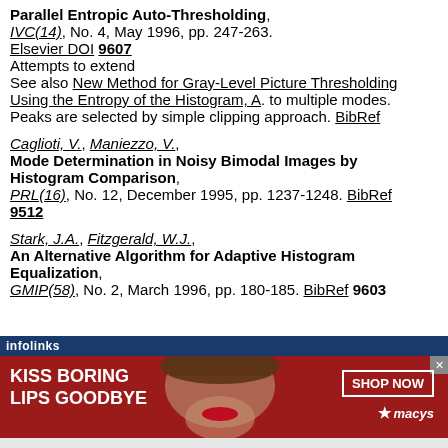Parallel Entropic Auto-Thresholding, IVC(14), No. 4, May 1996, pp. 247-263. Elsevier DOI 9607 Attempts to extend See also New Method for Gray-Level Picture Thresholding Using the Entropy of the Histogram, A. to multiple modes. Peaks are selected by simple clipping approach. BibRef
Caglioti, V., Maniezzo, V., Mode Determination in Noisy Bimodal Images by Histogram Comparison, PRL(16), No. 12, December 1995, pp. 1237-1248. BibRef 9512
Stark, J.A., Fitzgerald, W.J., An Alternative Algorithm for Adaptive Histogram Equalization, GMIP(58), No. 2, March 1996, pp. 180-185. BibRef 9603
[Figure (advertisement): Macy's advertisement with dark red background, woman's face, text 'KISS BORING LIPS GOODBYE', 'SHOP NOW' button, and Macy's star logo]